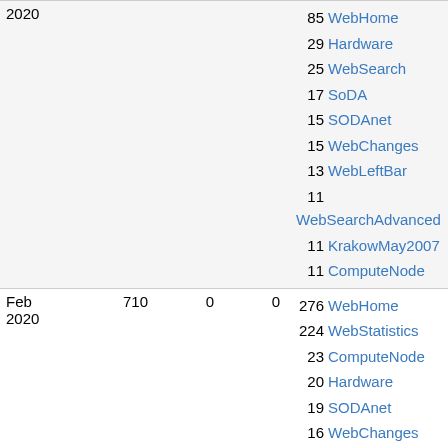| Date | Views | Col3 | Col4 | Top pages |
| --- | --- | --- | --- | --- |
| 2020 |  |  |  | 85 WebHome
29 Hardware
25 WebSearch
17 SoDA
15 SODAnet
15 WebChanges
13 WebLeftBar
11 WebSearchAdvanced
11 KrakowMay2007
11 ComputeNode |
| Feb
2020 | 710 | 0 | 0 | 276 WebHome
224 WebStatistics
23 ComputeNode
20 Hardware
19 SODAnet
16 WebChanges
15 WebIndex
13 WebPreferences
10 WebTopicList |